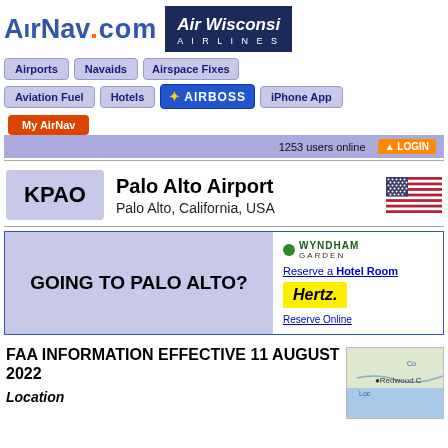[Figure (logo): AirNav.com logo and Air Wisconsin Airlines banner]
[Figure (infographic): Navigation buttons: Airports, Navaids, Airspace Fixes, Aviation Fuel, Hotels, AIRBOSS, iPhone App]
[Figure (infographic): My AirNav button and 1253 users online with LOGIN button]
KPAO  Palo Alto Airport  Palo Alto, California, USA
[Figure (infographic): GOING TO PALO ALTO? ad with Wyndham Garden and Hertz Reserve Online]
FAA INFORMATION EFFECTIVE 11 AUGUST 2022
Location
[Figure (map): Map preview showing Redwood City area]